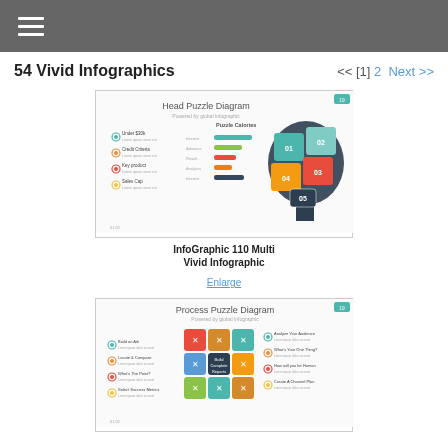Navigation menu bar
54 Vivid Infographics
<< [1] 2 Next >>
[Figure (infographic): Head Puzzle Diagram infographic showing a colorful puzzle-piece head silhouette with labels 01-05 and a data table with colored bar indicators. Title: Head Puzzle Diagram]
InfoGraphic 110 Multi Vivid Infographic
Enlarge
[Figure (infographic): Process Puzzle Diagram infographic showing colorful interlocking puzzle pieces arranged in a grid with text labels on left and right sides. Title: Process Puzzle Diagram]